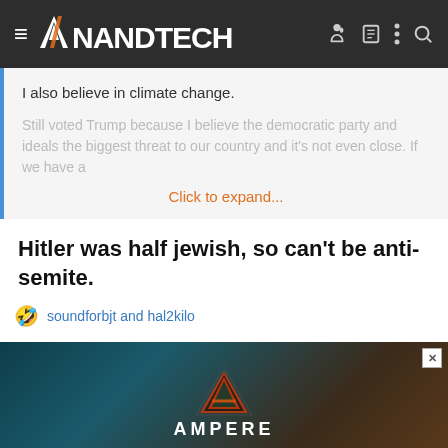AnandTech
I also believe in climate change.
Still voted Trump because I believe the democratic party and ideals the biggest threat to our country and it's not even close. If we have a
Click to expand...
Hitler was half jewish, so can't be anti-semite.
soundforbjt and hal2kilo
[Figure (screenshot): Advertisement banner with Ampere logo (orange A) and text AMPERE on dark background]
This site uses cookies to help personalise content, tailor your experience and to keep you logged in if you register.
By continuing to use this site, you are consenting to our use of cookies.